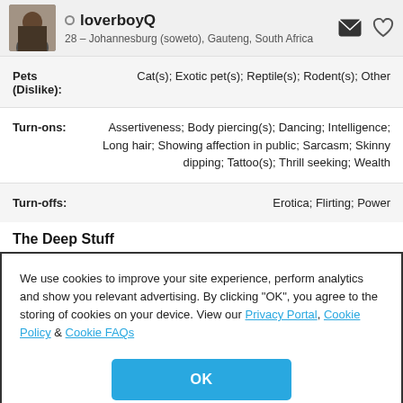loverboyQ — 28 – Johannesburg (soweto), Gauteng, South Africa
Pets (Dislike): Cat(s); Exotic pet(s); Reptile(s); Rodent(s); Other
Turn-ons: Assertiveness; Body piercing(s); Dancing; Intelligence; Long hair; Showing affection in public; Sarcasm; Skinny dipping; Tattoo(s); Thrill seeking; Wealth
Turn-offs: Erotica; Flirting; Power
The Deep Stuff
We use cookies to improve your site experience, perform analytics and show you relevant advertising. By clicking "OK", you agree to the storing of cookies on your device. View our Privacy Portal, Cookie Policy & Cookie FAQs
OK